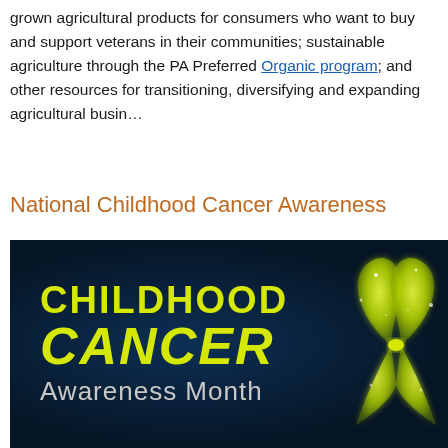grown agricultural products for consumers who want to buy and support veterans in their communities; sustainable agriculture through the PA Preferred Organic program; and other resources for transitioning, diversifying and expanding agricultural businesses.
National Childhood Cancer Awareness
[Figure (photo): Dark blue banner image with yellow-green text reading 'CHILDHOOD CANCER Awareness Month' and a glowing yellow ribbon on the right side]